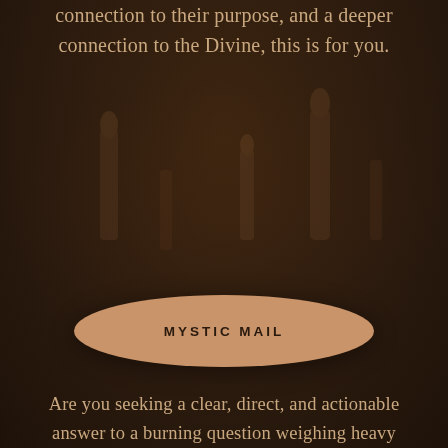connection to their purpose, and a deeper connection to the Divine, this is for you.
[Figure (illustration): Dark brown atmospheric background with faint silhouettes of figures or candles in the midground, creating a mystical ambiance.]
MYSTIC MAIL
Are you seeking a clear, direct, and actionable answer to a burning question weighing heavy